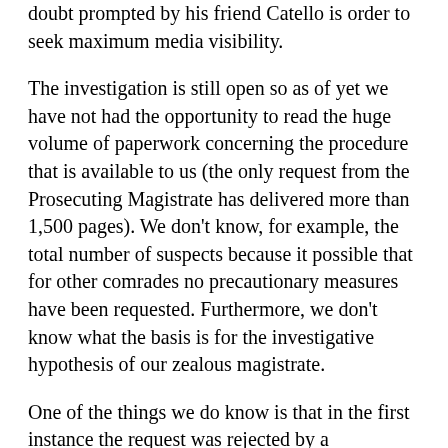doubt prompted by his friend Catello is order to seek maximum media visibility.
The investigation is still open so as of yet we have not had the opportunity to read the huge volume of paperwork concerning the procedure that is available to us (the only request from the Prosecuting Magistrate has delivered more than 1,500 pages). We don't know, for example, the total number of suspects because it possible that for other comrades no precautionary measures have been requested. Furthermore, we don't know what the basis is for the investigative hypothesis of our zealous magistrate.
One of the things we do know is that in the first instance the request was rejected by a preliminary investigations judge who did not consider the elements in his possession to validate the arrests. Not used to having his integrity questioned, the public prosecutor has appealed because he can't accept